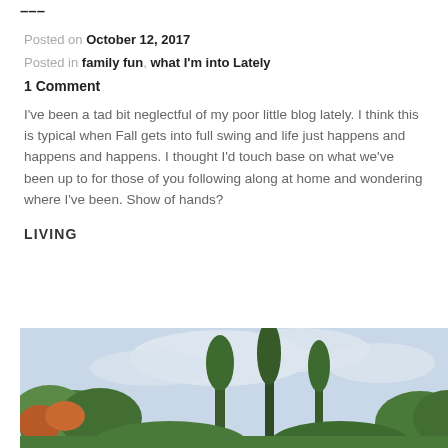Posted on October 12, 2017
Posted in family fun, what I'm into Lately
1 Comment
I've been a tad bit neglectful of my poor little blog lately. I think this is typical when Fall gets into full swing and life just happens and happens and happens. I thought I'd touch base on what we've been up to for those of you following along at home and wondering where I've been. Show of hands?
LIVING
[Figure (photo): Outdoor photo showing trees and sky with overcast clouds, taken from ground level looking up through tree canopy]